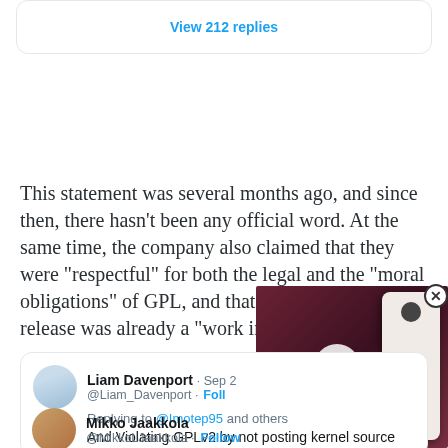[Figure (screenshot): Top of a rounded card showing a blue link text 'View 212 replies']
This statement was several months ago, and since then, there hasn't been any official word. At the same time, the company also claimed that they were "respectful" for both the legal and the "moral obligations" of GPL, and that kernel source release was already a "work in progress".
[Figure (screenshot): Embedded tweet from Liam Davenport (@Liam_Davenport) dated Sep 2, replying to @Imotep95 and others, saying: 'And Violating GPLv2 by not posting kernel source'. A video overlay shows a smartphone photo with a play button. A close button is visible top right of the video.]
[Figure (screenshot): Start of second embedded tweet from Mikko Jaakkola (@MikkoLJaakkola) with a Follow button in blue.]